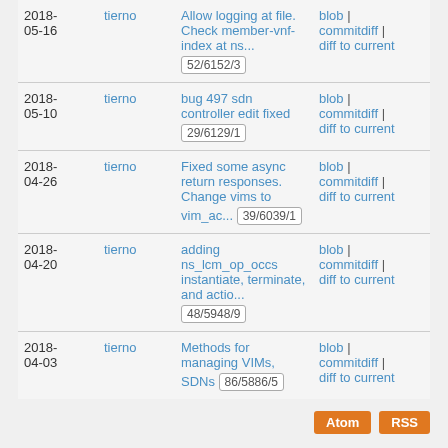| Date | Author | Message | Links |
| --- | --- | --- | --- |
| 2018-05-16 | tierno | Allow logging at file. Check member-vnf-index at ns... 52/6152/3 | blob | commitdiff | diff to current |
| 2018-05-10 | tierno | bug 497 sdn controller edit fixed 29/6129/1 | blob | commitdiff | diff to current |
| 2018-04-26 | tierno | Fixed some async return responses. Change vims to vim_ac... 39/6039/1 | blob | commitdiff | diff to current |
| 2018-04-20 | tierno | adding ns_lcm_op_occs instantiate, terminate, and actio... 48/5948/9 | blob | commitdiff | diff to current |
| 2018-04-03 | tierno | Methods for managing VIMs, SDNs 86/5886/5 | blob | commitdiff | diff to current |
Atom | RSS